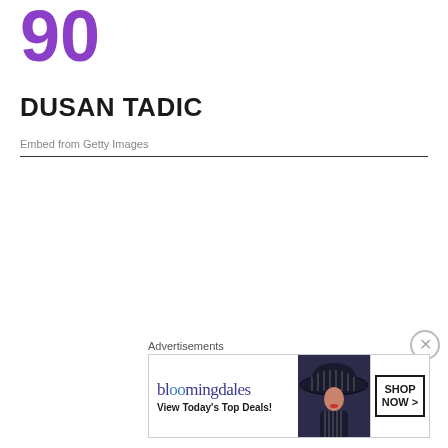90
DUSAN TADIC
Embed from Getty Images
Advertisements
[Figure (illustration): Bloomingdales advertisement banner: logo, tagline 'View Today's Top Deals!', woman with wide-brim hat, SHOP NOW button]